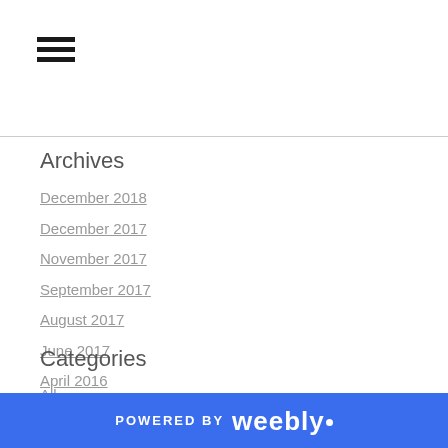[Figure (other): Hamburger menu icon — three horizontal black bars]
Archives
December 2018
December 2017
November 2017
September 2017
August 2017
June 2017
April 2016
Categories
All
POWERED BY weebly